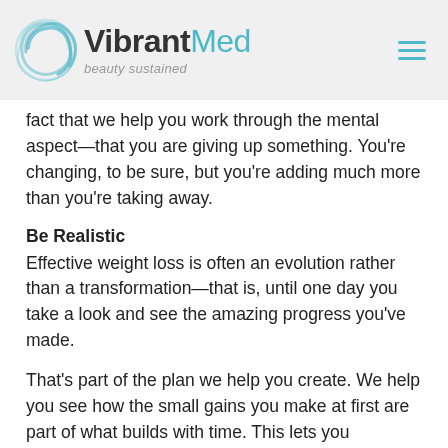VibrantMed beauty sustained
fact that we help you work through the mental aspect—that you are giving up something. You're changing, to be sure, but you're adding much more than you're taking away.
Be Realistic
Effective weight loss is often an evolution rather than a transformation—that is, until one day you take a look and see the amazing progress you've made.
That's part of the plan we help you create. We help you see how the small gains you make at first are part of what builds with time. This lets you understand that you ARE making progress, and that you're doing what you need to do. Your personalized plan is a road map for helping you